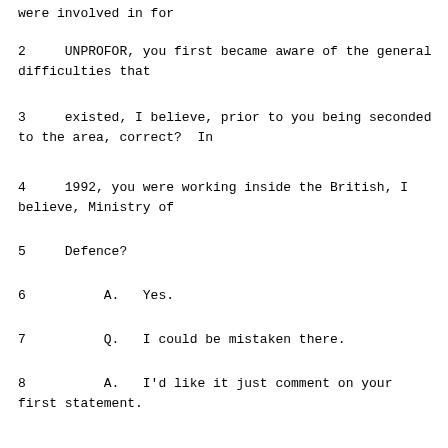were involved in for
2     UNPROFOR, you first became aware of the general difficulties that
3     existed, I believe, prior to you being seconded to the area, correct?  In
4     1992, you were working inside the British, I believe, Ministry of
5     Defence?
6          A.   Yes.
7          Q.   I could be mistaken there.
8          A.   I'd like it just comment on your first statement.